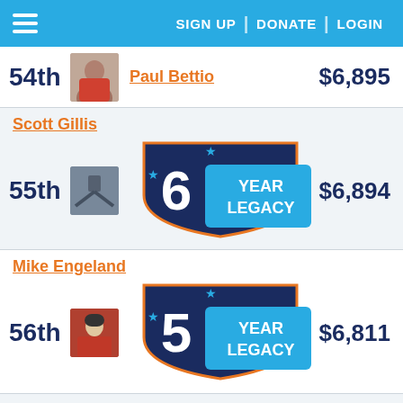SIGN UP | DONATE | LOGIN
54th  Paul Bettio  $6,895
55th  Scott Gillis  6 YEAR LEGACY  $6,894
56th  Mike Engeland  5 YEAR LEGACY  $6,811
57th  Ray Bock  3 YEAR LEGACY  $6,790